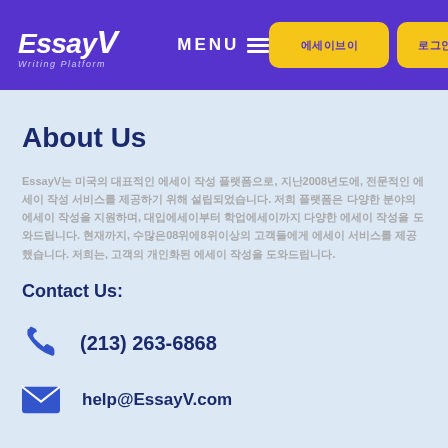EssayV Writing Platform | MENU | 에세이브이 | 로그인
About Us
EssayV는 미국의 대표적인 에세이 작성 플랫폼으로, 지난2008년도에, 전문적인 에세이 작성 서비스를 제공하기 위해 설립되었습니다. 저희 플랫폼은 다양한 분야의 에세이 작성을 지원하며, 대입에세이부터 학업에세이까지 다양한 에세이 작성을 도와드립니다. 현재까지, 수많은08위에8위이상의 고객들에게 에세이 서비스를 제공했습니다. 저희는, 고객의 개인화된 에세이 작성을 도와드립니다.
Contact Us:
(213) 263-6868
help@EssayV.com